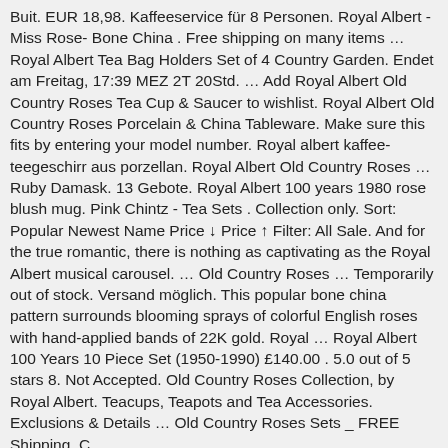Buit. EUR 18,98. Kaffeeservice für 8 Personen. Royal Albert - Miss Rose- Bone China . Free shipping on many items … Royal Albert Tea Bag Holders Set of 4 Country Garden. Endet am Freitag, 17:39 MEZ 2T 20Std. … Add Royal Albert Old Country Roses Tea Cup & Saucer to wishlist. Royal Albert Old Country Roses Porcelain & China Tableware. Make sure this fits by entering your model number. Royal albert kaffee- teegeschirr aus porzellan. Royal Albert Old Country Roses … Ruby Damask. 13 Gebote. Royal Albert 100 years 1980 rose blush mug. Pink Chintz - Tea Sets . Collection only. Sort: Popular Newest Name Price ↓ Price ↑ Filter: All Sale. And for the true romantic, there is nothing as captivating as the Royal Albert musical carousel. … Old Country Roses … Temporarily out of stock. Versand möglich. This popular bone china pattern surrounds blooming sprays of colorful English roses with hand-applied bands of 22K gold. Royal … Royal Albert 100 Years 10 Piece Set (1950-1990) £140.00 . 5.0 out of 5 stars 8. Not Accepted. Old Country Roses Collection, by Royal Albert. Teacups, Teapots and Tea Accessories. Exclusions & Details … Old Country Roses Sets _ FREE Shipping. C